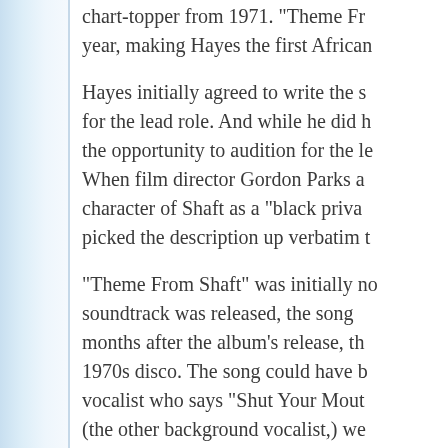chart-topper from 1971. "Theme Fr... year, making Hayes the first African...
Hayes initially agreed to write the s... for the lead role. And while he did h... the opportunity to audition for the le... When film director Gordon Parks a... character of Shaft as a "black priva... picked the description up verbatim t...
"Theme From Shaft" was initially no... soundtrack was released, the song... months after the album's release, th... 1970s disco. The song could have b... vocalist who says "Shut Your Mouth... (the other background vocalist,) we... band backing Hayes on the track w...
In the days before sampling, the hig... single that Hayes arranged: "Otis R... that. At the end, Al Jackson was do... of thing on a hi-hat, it would give a...